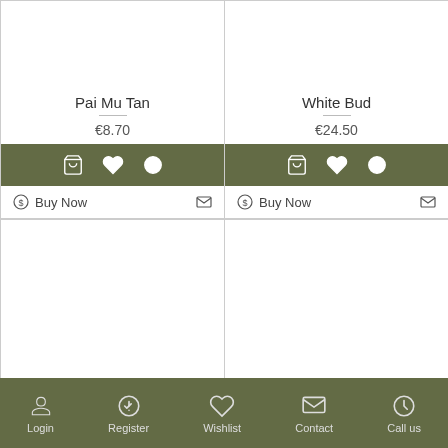Pai Mu Tan
€8.70
Buy Now
White Bud
€24.50
Buy Now
White Grapefruit
Lansang Pai Mu Tan
Login   Register   Wishlist   Contact   Call us